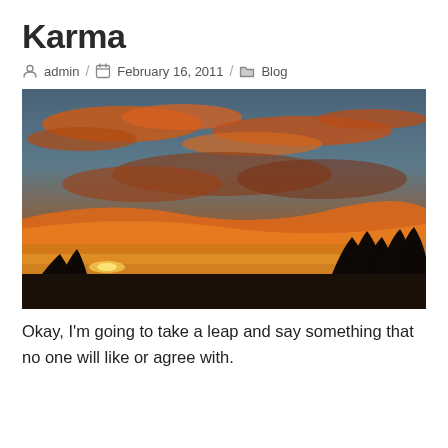Karma
admin / February 16, 2011 / Blog
[Figure (photo): Dramatic sunset sky with orange and red clouds over silhouetted trees]
Okay, I'm going to take a leap and say something that no one will like or agree with.